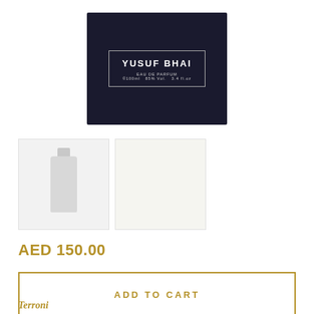[Figure (photo): Perfume bottle box with black background showing label 'YUSUF BHAI EAU DE PARFUM ©100ml 85% Vol. 3.4 fl.oz']
[Figure (photo): Two product thumbnail images: first showing white perfume bottle silhouette, second showing a lighter colored product view]
AED 150.00
ADD TO CART
Terroni